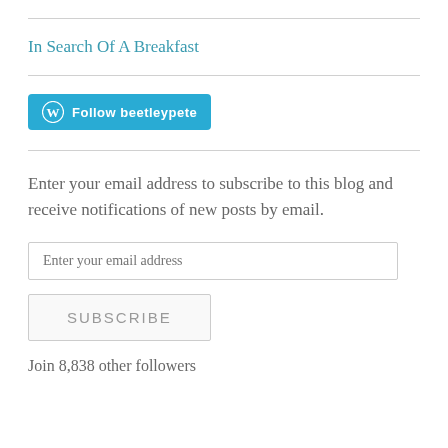In Search Of A Breakfast
[Figure (other): WordPress Follow button with logo — Follow beetleypete]
Enter your email address to subscribe to this blog and receive notifications of new posts by email.
Enter your email address
SUBSCRIBE
Join 8,838 other followers